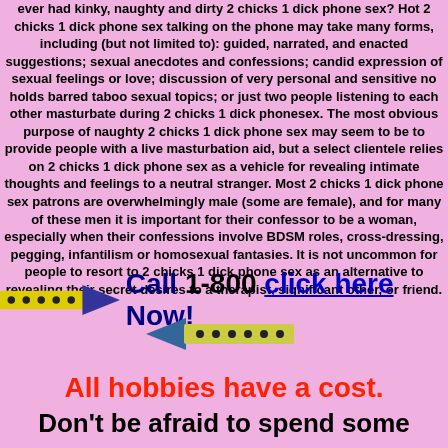ever had kinky, naughty and dirty 2 chicks 1 dick phone sex? Hot 2 chicks 1 dick phone sex talking on the phone may take many forms, including (but not limited to): guided, narrated, and enacted suggestions; sexual anecdotes and confessions; candid expression of sexual feelings or love; discussion of very personal and sensitive no holds barred taboo sexual topics; or just two people listening to each other masturbate during 2 chicks 1 dick phonesex. The most obvious purpose of naughty 2 chicks 1 dick phone sex may seem to be to provide people with a live masturbation aid, but a select clientele relies on 2 chicks 1 dick phone sex as a vehicle for revealing intimate thoughts and feelings to a neutral stranger. Most 2 chicks 1 dick phone sex patrons are overwhelmingly male (some are female), and for many of these men it is important for their confessor to be a woman, especially when their confessions involve BDSM roles, cross-dressing, pegging, infantilism or homosexual fantasies. It is not uncommon for people to resort to 2 chicks 1 dick phone sex as an alternative to revealing their secret desires to a therapist, significant other, or friend.
[Figure (illustration): Right-pointing arrow made of yellow and black dotted pattern with dark blue arrow head]
Call 1-800 click here Now!
[Figure (illustration): Left-pointing arrow made of yellow and black dotted pattern with dark blue arrow head]
All hobbies have a cost.
Don't be afraid to spend some money.